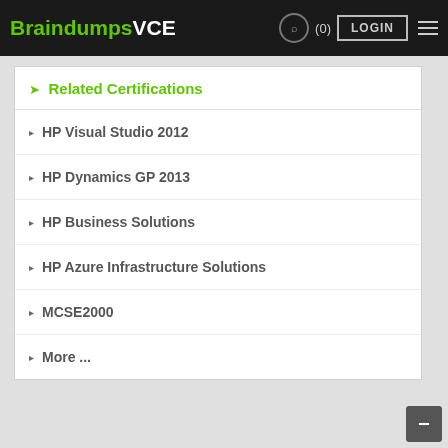BraindumpsVCE  (0)  LOGIN
Related Certifications
HP Visual Studio 2012
HP Dynamics GP 2013
HP Business Solutions
HP Azure Infrastructure Solutions
MCSE2000
More ...